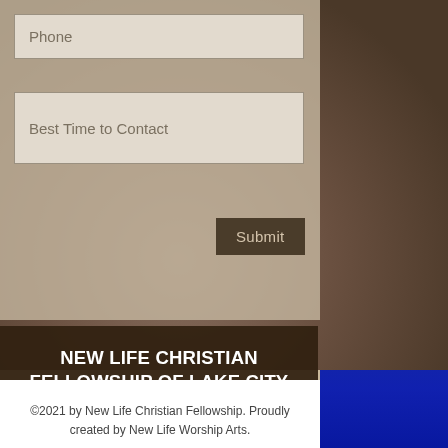[Figure (photo): Smiling family couple (woman and man) with child on right side, outdoor setting with bokeh background]
Phone
Best Time to Contact
Submit
NEW LIFE CHRISTIAN FELLOWSHIP OF LAKE CITY
422 SW Baya Drive
Lake City, FL 32025
386-758-8397
Get Directions
©2021 by New Life Christian Fellowship. Proudly created by New Life Worship Arts.